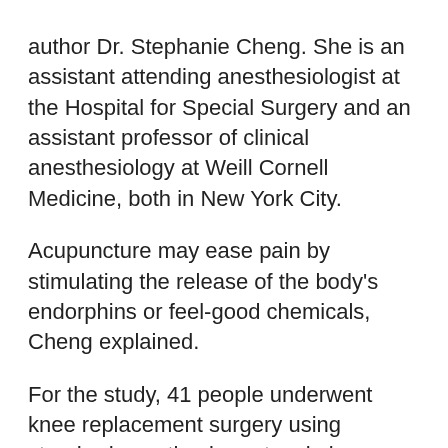author Dr. Stephanie Cheng. She is an assistant attending anesthesiologist at the Hospital for Special Surgery and an assistant professor of clinical anesthesiology at Weill Cornell Medicine, both in New York City. Acupuncture may ease pain by stimulating the release of the body's endorphins or feel-good chemicals, Cheng explained. For the study, 41 people underwent knee replacement surgery using standard anesthesia protocol plus electroacupuncture, which involves applying a small electric current to thin needles that are inserted at known acupuncture points in the ear during surgery. In addition to reporting less pain, 65% of people who received acupuncture during their knee surgery took a low-dose opioid regimen of 15 pills or less or remained completely opioid-free for 30 days after their surgery